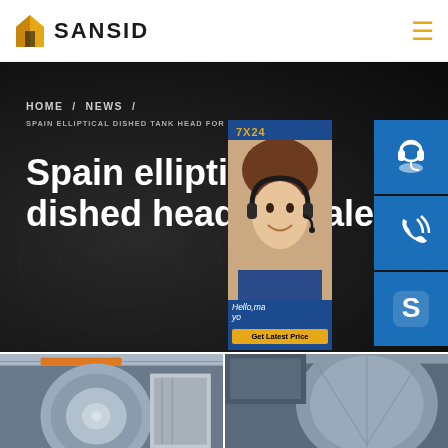[Figure (logo): SANSID company logo with orange building icon and bold text SANSID]
HOME / NEWS / SPAIN ELLIPTICAL DISHED TANK HEAD FOR
Spain elliptical dished head for sale
[Figure (infographic): 7X24 customer service sidebar with headset agent photo, customer service icons (headset, phone, Skype), Hello message, and Get Latest Price button]
[Figure (photo): Industrial manufacturing photos showing elliptical dished tank heads in factory setting]